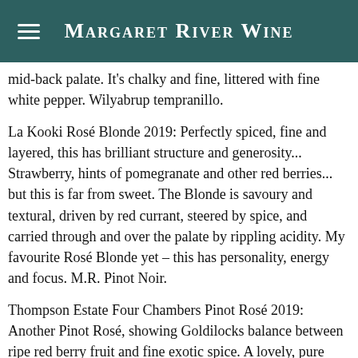Margaret River Wine
mid-back palate. It's chalky and fine, littered with fine white pepper. Wilyabrup tempranillo.
La Kooki Rosé Blonde 2019: Perfectly spiced, fine and layered, this has brilliant structure and generosity... Strawberry, hints of pomegranate and other red berries... but this is far from sweet. The Blonde is savoury and textural, driven by red currant, steered by spice, and carried through and over the palate by rippling acidity. My favourite Rosé Blonde yet – this has personality, energy and focus. M.R. Pinot Noir.
Thompson Estate Four Chambers Pinot Rosé 2019: Another Pinot Rosé, showing Goldilocks balance between ripe red berry fruit and fine exotic spice. A lovely, pure wine; 'pretty' was used thrice in the original note.
Nocturne Rosé 2019: The thing that really got me h the intensity of fruit flavour on the palate. This is concentrated. Sure: it looks good, it smells great... but I